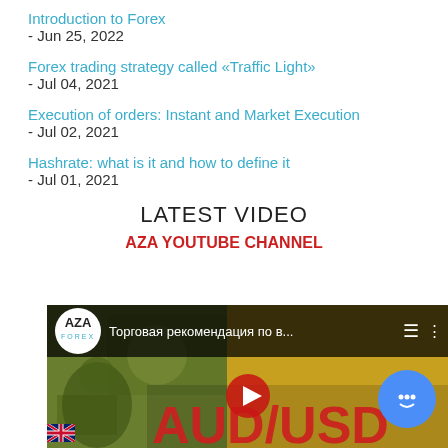Introduction to Forex
- Jun 25, 2022
Forex trading strategy called «Traffic Light»
- Jul 04, 2021
Execution of orders: Instant and Market Execution
- Jul 02, 2021
Hashrate: what is it and how to define it
- Jul 01, 2021
LATEST VIDEO
AZA YOUTUBE CHANNEL
[Figure (screenshot): AZA Forex YouTube video thumbnail showing AUD/USD trading recommendation with AZA Forex logo, Russian text 'Торговая рекомендация по в...' and AUD/USD text overlay on Australian currency background]